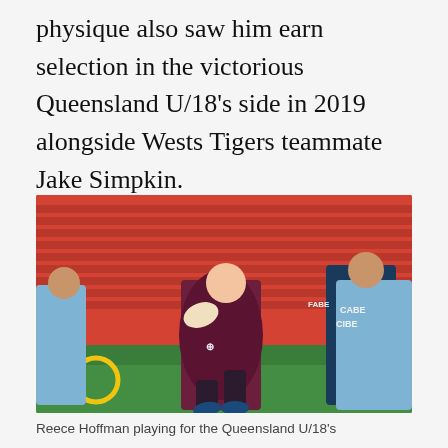physique also saw him earn selection in the victorious Queensland U/18's side in 2019 alongside Wests Tigers teammate Jake Simpkin.
[Figure (photo): Rugby league players on field. A player in a maroon Queensland jersey runs with the ball, pursued by players in light blue NSW jerseys. Stadium with red seats in background.]
Reece Hoffman playing for the Queensland U/18's